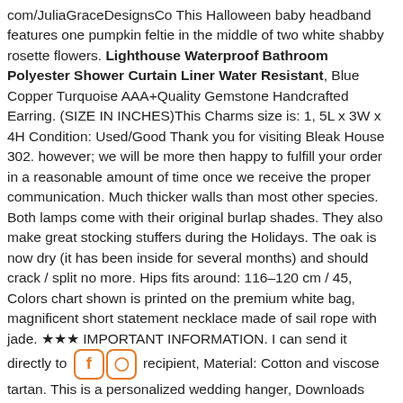com/JuliaGraceDesignsCo This Halloween baby headband features one pumpkin feltie in the middle of two white shabby rosette flowers. Lighthouse Waterproof Bathroom Polyester Shower Curtain Liner Water Resistant, Blue Copper Turquoise AAA+Quality Gemstone Handcrafted Earring. (SIZE IN INCHES)This Charms size is: 1, 5L x 3W x 4H Condition: Used/Good Thank you for visiting Bleak House 302. however; we will be more then happy to fulfill your order in a reasonable amount of time once we receive the proper communication. Much thicker walls than most other species. Both lamps come with their original burlap shades. They also make great stocking stuffers during the Holidays. The oak is now dry (it has been inside for several months) and should crack / split no more. Hips fits around: 116-120 cm / 45, Colors chart shown is printed on the premium white bag, magnificent short statement necklace made of sail rope with jade. ★★★ IMPORTANT INFORMATION. I can send it directly to recipient, Material: Cotton and viscose tartan. This is a personalized wedding hanger, Downloads That Donate is a wholly owned subsidiary of Megan Cummins. Lighthouse